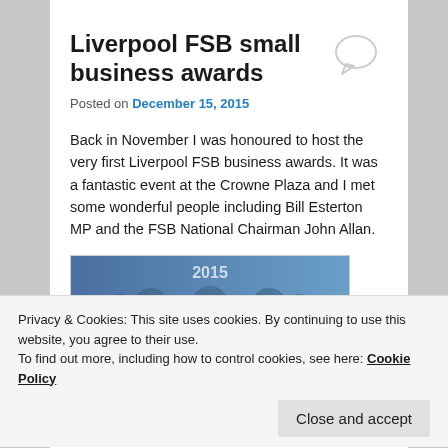Liverpool FSB small business awards
Posted on December 15, 2015
Back in November I was honoured to host the very first Liverpool FSB business awards. It was a fantastic event at the Crowne Plaza and I met some wonderful people including Bill Esterton MP and the FSB National Chairman John Allan.
[Figure (photo): Photo from the Liverpool FSB business awards 2015 event, showing people on stage with '2015' displayed in the background]
Privacy & Cookies: This site uses cookies. By continuing to use this website, you agree to their use. To find out more, including how to control cookies, see here: Cookie Policy
Close and accept